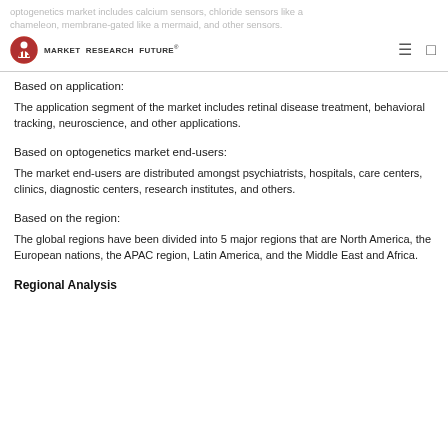optogenetics market includes calcium sensors, chloride sensors like a chameleon, membrane-gated like a mermaid, and other sensors.
Based on application:
The application segment of the market includes retinal disease treatment, behavioral tracking, neuroscience, and other applications.
Based on optogenetics market end-users:
The market end-users are distributed amongst psychiatrists, hospitals, care centers, clinics, diagnostic centers, research institutes, and others.
Based on the region:
The global regions have been divided into 5 major regions that are North America, the European nations, the APAC region, Latin America, and the Middle East and Africa.
Regional Analysis